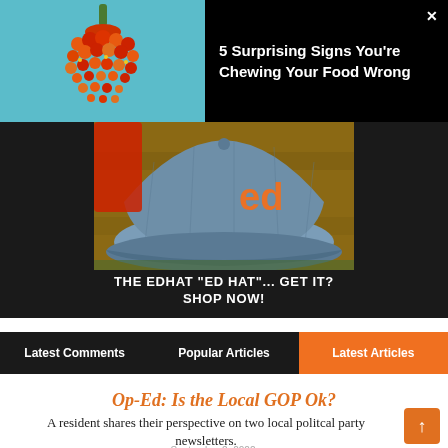[Figure (photo): Top ad banner: food/berry image on teal background on left, '5 Surprising Signs You're Chewing Your Food Wrong' text on black background on right, with X close button]
[Figure (photo): The edhat 'ED HAT'... GET IT? SHOP NOW! - photo of a blue denim baseball cap with orange 'ed' text on a wooden bench, dark background]
Latest Comments | Popular Articles | Latest Articles
Op-Ed: Is the Local GOP Ok?
A resident shares their perspective on two local politcal party newsletters.
on September 2, 2022